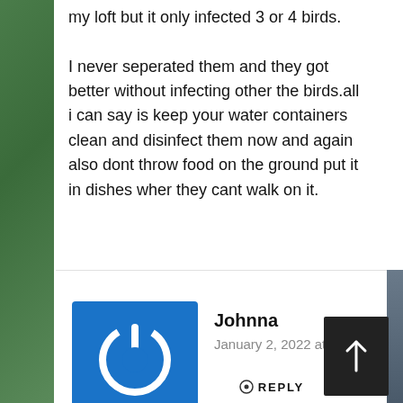my loft but it only infected 3 or 4 birds.
I never seperated them and they got better without infecting other the birds.all i can say is keep your water containers clean and disinfect them now and again also dont throw food on the ground put it in dishes wher they cant walk on it.
REPLY
Johnna
January 2, 2022 at 8:20 am
Hi Geoff you talk sence
REPLY